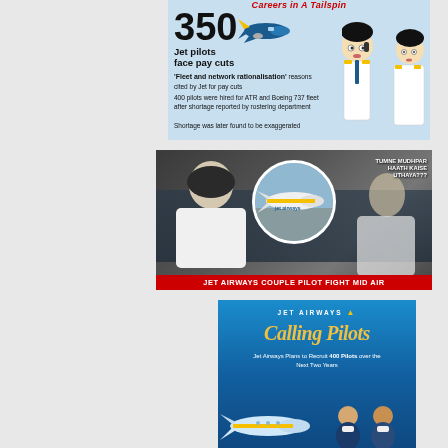[Figure (infographic): Infographic about 350 Jet pilots facing pay cuts. Includes text about fleet and network rationalisation, 400 pilots hired for ATR and Boeing 737 fleet, shortage found to be exaggerated. Cartoon airplane and pilots illustrated.]
[Figure (photo): Photo of Jet Airways couple pilot fight mid air. Shows cockpit scene with two pilots and a circular inset of a Jet Airways airplane. Text bubble says TUMNE MUDHPAR HAATH KAISE UTHAYA??? Red banner at bottom reads JET AIRWAYS COUPLE PILOT FIGHT MID AIR.]
[Figure (infographic): Jet Airways advertisement. Blue background with JET AIRWAYS logo, Calling Pilots heading in yellow italic, text Jet Airways Plans to Recruit 400 Pilots over the Next Two Years. Aircraft and people illustrated at bottom.]